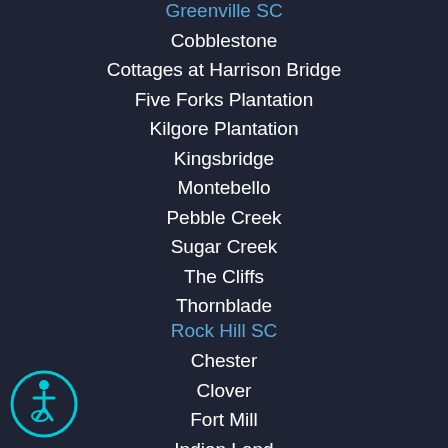Greenville SC
Cobblestone
Cottages at Harrison Bridge
Five Forks Plantation
Kilgore Plantation
Kingsbridge
Montebello
Pebble Creek
Sugar Creek
The Cliffs
Thornblade
Rock Hill SC
Chester
Clover
Fort Mill
Indian Land
Lake Wylie
Lancaster
Rock Hill